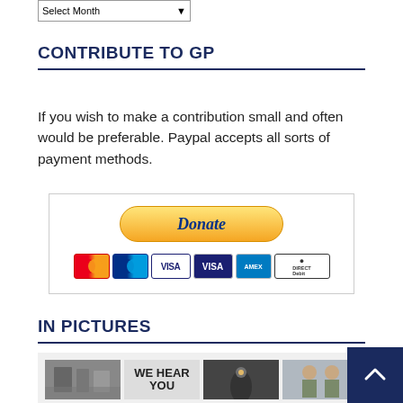CONTRIBUTE TO GP
If you wish to make a contribution small and often would be preferable. Paypal accepts all sorts of payment methods.
[Figure (screenshot): PayPal Donate button with payment method logos including Mastercard, Maestro, Visa, Visa Electron, American Express, and Direct Debit]
IN PICTURES
[Figure (photo): Grid of thumbnail photos including a black and white historical image, a 'WE HEAR YOU' sign, a bottle close-up, military personnel, and other images]